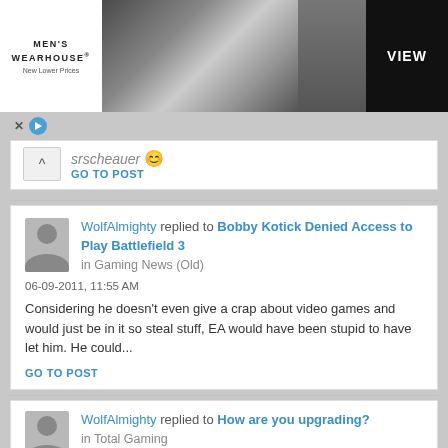[Figure (screenshot): Men's Wearhouse advertisement banner showing a couple in formal wear and a man in a suit, with 'New Lower Prices' text and a VIEW button]
srscheauer replied to ... GO TO POST
WolfAlmighty replied to Bobby Kotick Denied Access to Play Battlefield 3 in Gaming News (Old)
06-09-2011, 11:55 AM
Considering he doesn't even give a crap about video games and would just be in it so steal stuff, EA would have been stupid to have let him. He could...
GO TO POST
WolfAlmighty replied to How are you upgrading? in Total Gaming
06-03-2011, 01:37 PM